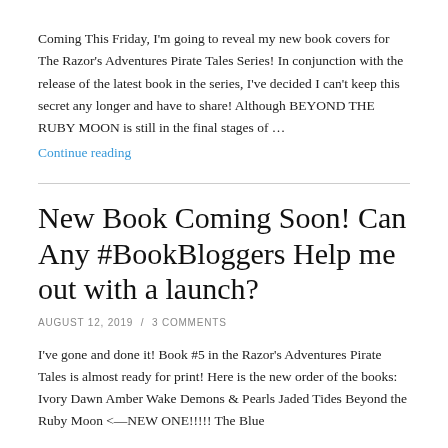Coming This Friday, I'm going to reveal my new book covers for The Razor's Adventures Pirate Tales Series! In conjunction with the release of the latest book in the series, I've decided I can't keep this secret any longer and have to share! Although BEYOND THE RUBY MOON is still in the final stages of …
Continue reading
New Book Coming Soon! Can Any #BookBloggers Help me out with a launch?
AUGUST 12, 2019  /  3 COMMENTS
I've gone and done it! Book #5 in the Razor's Adventures Pirate Tales is almost ready for print! Here is the new order of the books: Ivory Dawn Amber Wake Demons & Pearls Jaded Tides Beyond the Ruby Moon <—NEW ONE!!!!! The Blue